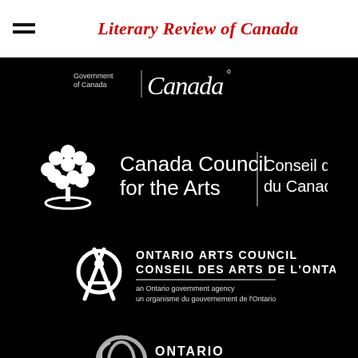Literary Review of Canada
[Figure (logo): Government of Canada / Canada wordmark logo in white on black background]
[Figure (logo): Canada Council for the Arts / Conseil des arts du Canada logo - white tree symbol with bilingual text on black background]
[Figure (logo): Ontario Arts Council / Conseil des arts de l'Ontario logo - white OA symbol on black background, with tagline 'an Ontario government agency / un organisme du gouvernement de l'Ontario']
[Figure (logo): Ontario Creates logo - grey circular O symbol with ONTARIO CREATES text in white on black background]